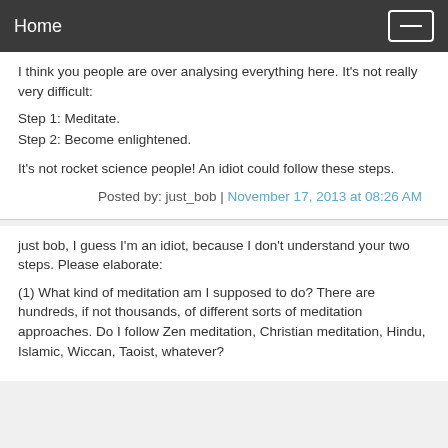Home
I think you people are over analysing everything here. It's not really very difficult:
Step 1: Meditate.
Step 2: Become enlightened.
It's not rocket science people! An idiot could follow these steps.
Posted by: just_bob | November 17, 2013 at 08:26 AM
just bob, I guess I'm an idiot, because I don't understand your two steps. Please elaborate:
(1) What kind of meditation am I supposed to do? There are hundreds, if not thousands, of different sorts of meditation approaches. Do I follow Zen meditation, Christian meditation, Hindu, Islamic, Wiccan, Taoist, whatever?